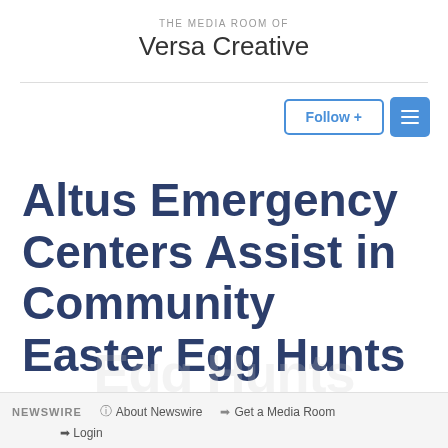THE MEDIA ROOM OF
Versa Creative
Follow +
Altus Emergency Centers Assist in Community Easter Egg Hunts
NEWSWIRE  About Newswire  Get a Media Room  Login